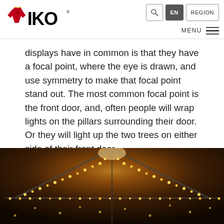IKO — EN | REGION | MENU
displays have in common is that they have a focal point, where the eye is drawn, and use symmetry to make that focal point stand out. The most common focal point is the front door, and, often people will wrap lights on the pillars surrounding their door. Or they will light up the two trees on either side of their front door.
[Figure (photo): Photograph of a house roofline decorated with warm yellow/golden Christmas lights, showing the gable/ridge of the roof illuminated against a dark background.]